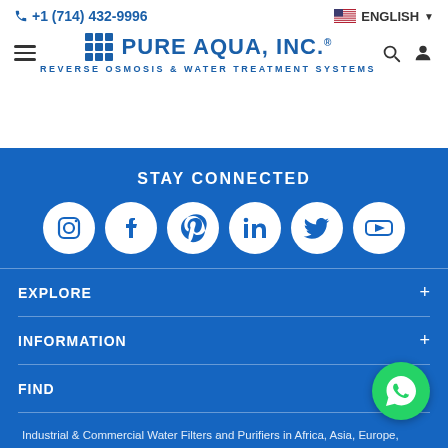+1 (714) 432-9996 | ENGLISH | Pure Aqua, Inc. — Reverse Osmosis & Water Treatment Systems
STAY CONNECTED
[Figure (illustration): Row of six social media icons (Instagram, Facebook, Pinterest, LinkedIn, Twitter, YouTube) as white circles on blue background]
EXPLORE +
INFORMATION +
FIND +
Industrial & Commercial Water Filters and Purifiers in Africa, Asia, Europe, North America, South America, Australia | Made in USA by Pure Aqua, Inc., an ISO9001:2015 Certified Co...
© Pure Aqua, Inc. All Rights Reserved | 2230 S Huron Dr, Santa Ana, CA 92704 | +1 (714) 432-9996 | sales@pureaqua.com